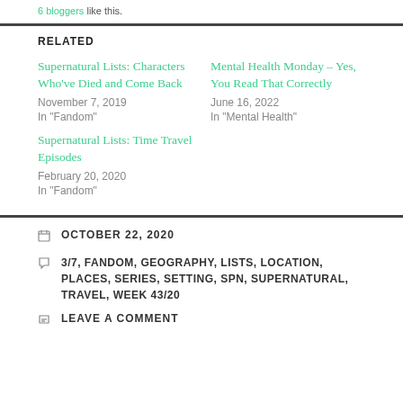6 bloggers like this.
RELATED
Supernatural Lists: Characters Who've Died and Come Back
November 7, 2019
In "Fandom"
Mental Health Monday – Yes, You Read That Correctly
June 16, 2022
In "Mental Health"
Supernatural Lists: Time Travel Episodes
February 20, 2020
In "Fandom"
OCTOBER 22, 2020
3/7, FANDOM, GEOGRAPHY, LISTS, LOCATION, PLACES, SERIES, SETTING, SPN, SUPERNATURAL, TRAVEL, WEEK 43/20
LEAVE A COMMENT